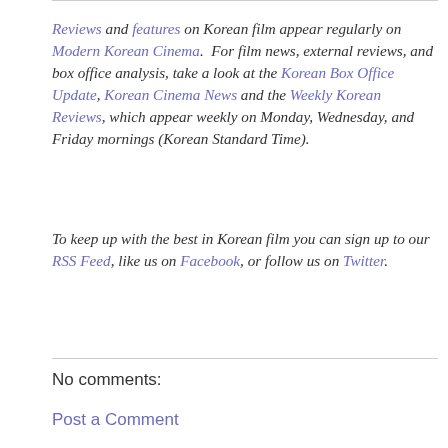Reviews and features on Korean film appear regularly on Modern Korean Cinema.  For film news, external reviews, and box office analysis, take a look at the Korean Box Office Update, Korean Cinema News and the Weekly Korean Reviews, which appear weekly on Monday, Wednesday, and Friday mornings (Korean Standard Time).
To keep up with the best in Korean film you can sign up to our RSS Feed, like us on Facebook, or follow us on Twitter.
No comments:
Post a Comment